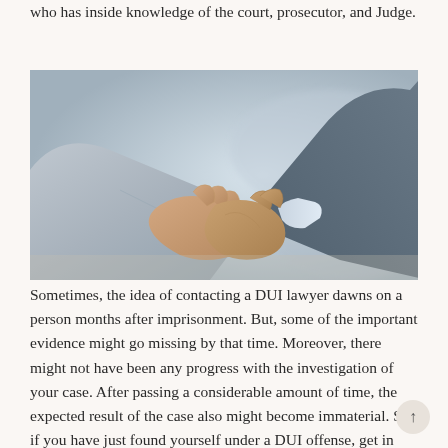who has inside knowledge of the court, prosecutor, and Judge.
[Figure (photo): Two people in business suits shaking hands, close-up view showing the handshake and suit sleeves]
Sometimes, the idea of contacting a DUI lawyer dawns on a person months after imprisonment. But, some of the important evidence might go missing by that time. Moreover, there might not have been any progress with the investigation of your case. After passing a considerable amount of time, the expected result of the case also might become immaterial. So, if you have just found yourself under a DUI offense, get in touch